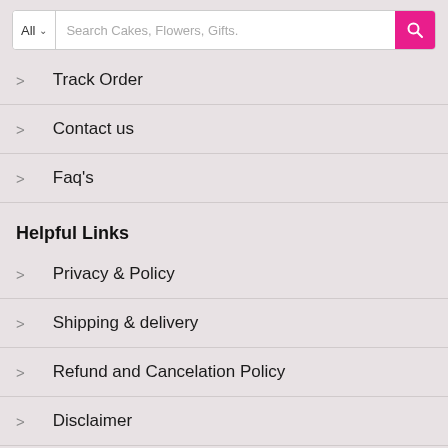[Figure (screenshot): Search bar with 'All' dropdown and pink search button, placeholder text 'Search Cakes, Flowers, Gifts.']
Track Order
Contact us
Faq's
Helpful Links
Privacy & Policy
Shipping & delivery
Refund and Cancelation Policy
Disclaimer